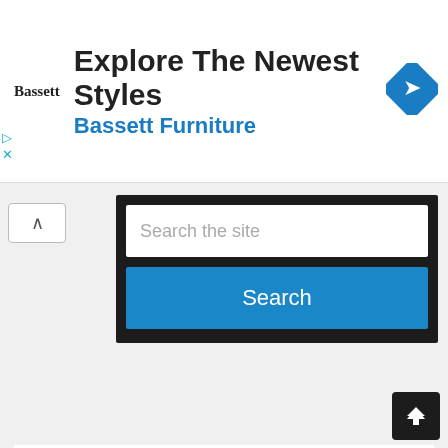[Figure (screenshot): Advertisement banner for Bassett Furniture with logo, headline 'Explore The Newest Styles', subheading 'Bassett Furniture', and a blue diamond navigation icon]
[Figure (screenshot): Website search widget with a text input field showing placeholder 'Search the site' and a blue 'Search' button, inside a dark background container]
RECENT POSTS
Micah Govender Developments Job Vacancy Application Details
Intercare Group Job Vacancy Application Details
Coega Development Corporation Job